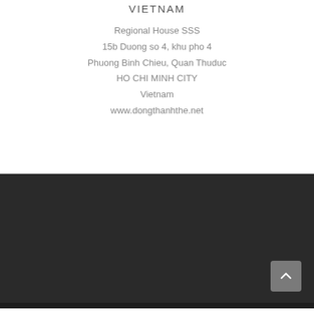VIETNAM
Regional House SSS
15b Duong so 4, khu pho 4
Phuong Binh Chieu, Quan Thuduc
HO CHI MINH CITY
Vietnam
www.dongthanhthe.net
[Figure (other): Dark footer background section with a back-to-top arrow button in the lower right corner]